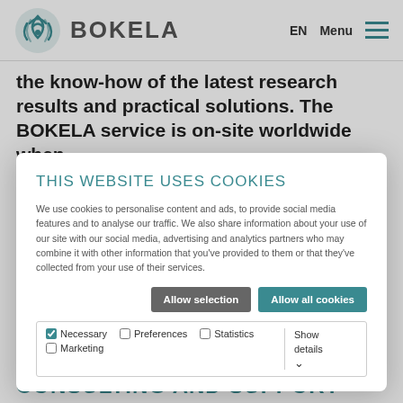BOKELA | EN | Menu
the know-how of the latest research results and practical solutions. The BOKELA service is on-site worldwide when
THIS WEBSITE USES COOKIES
We use cookies to personalise content and ads, to provide social media features and to analyse our traffic. We also share information about your use of our site with our social media, advertising and analytics partners who may combine it with other information that you've provided to them or that they've collected from your use of their services.
Allow selection | Allow all cookies
Necessary | Preferences | Statistics | Marketing | Show details
CONSULTING AND SUPPORT